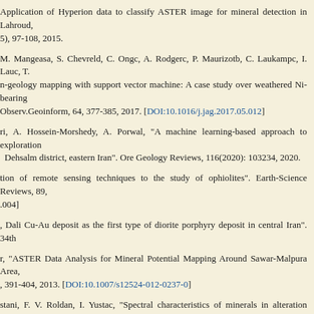Application of Hyperion data to classify ASTER image for mineral detection in Lahroud, 5), 97-108, 2015.
M. Mangeasa, S. Chevreld, C. Ongc, A. Rodgerc, P. Maurizotb, C. Laukampc, I. Lauc, T. n-geology mapping with support vector machine: A case study over weathered Ni-bearing Observ.Geoinform, 64, 377-385, 2017. [DOI:10.1016/j.jag.2017.05.012]
ri, A. Hossein-Morshedy, A. Porwal, "A machine learning-based approach to exploration Dehsalm district, eastern Iran". Ore Geology Reviews, 116(2020): 103234, 2020.
tion of remote sensing techniques to the study of ophiolites". Earth-Science Reviews, 89, .004]
, Dali Cu-Au deposit as the first type of diorite porphyry deposit in central Iran". 34th
r, "ASTER Data Analysis for Mineral Potential Mapping Around Sawar-Malpura Area, , 391-404, 2013. [DOI:10.1007/s12524-012-0237-0]
stani, F. V. Roldan, I. Yustac, "Spectral characteristics of minerals in alteration zones middle part of Kerman copper belt, SE Iran". Ore Geology Reviews, 62, 191-198, 2014.
l, "A remote sensingbased discrimination of high- and low-potential mineralization for naj-Sarduiyeh copper belt, SE Iran". European Journal of Remote Sensing, 50:1, 332-342,